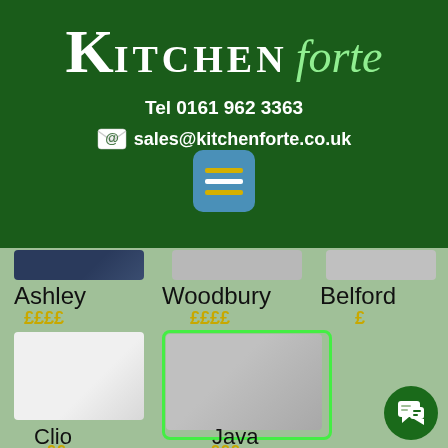[Figure (logo): Kitchen Forte logo with K large letter, ITCHEN in caps, and forte in italic green script, on dark green background]
Tel 0161 962 3363
sales@kitchenforte.co.uk
[Figure (screenshot): Hamburger menu button (teal square with three horizontal lines, middle white, top and bottom gold)]
Ashley
££££
Woodbury
££££
Belford
£
Clio
££
Java
£££